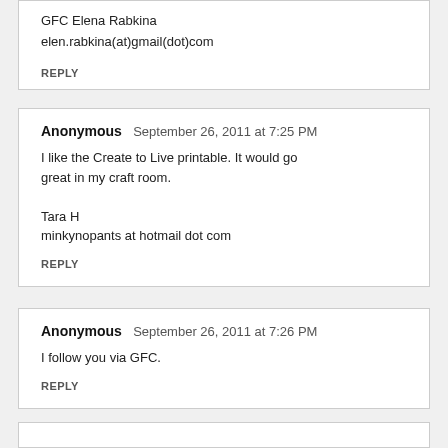GFC Elena Rabkina
elen.rabkina(at)gmail(dot)com
REPLY
Anonymous  September 26, 2011 at 7:25 PM
I like the Create to Live printable. It would go great in my craft room.
Tara H
minkynopants at hotmail dot com
REPLY
Anonymous  September 26, 2011 at 7:26 PM
I follow you via GFC.
REPLY